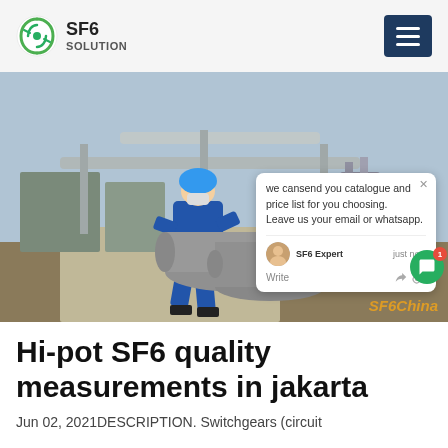SF6 SOLUTION
[Figure (photo): Industrial scene showing a worker in blue coveralls and hard hat handling large grey cylindrical gas cylinders at an outdoor electrical substation or switchgear facility. A chat popup overlay is visible in the lower right of the image with text: 'we can send you catalogue and price list for you choosing. Leave us your email or whatsapp.' SF6 Expert, just now. A green chat bubble icon with notification badge showing '1' is on the right edge. A watermark reads 'SF6China' in orange-yellow text at bottom right.]
Hi-pot SF6 quality measurements in jakarta
Jun 02, 2021DESCRIPTION. Switchgears (circuit